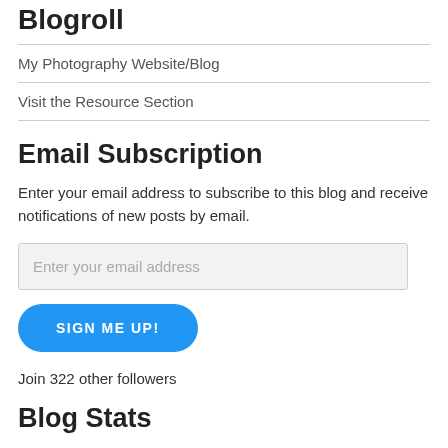Blogroll
My Photography Website/Blog
Visit the Resource Section
Email Subscription
Enter your email address to subscribe to this blog and receive notifications of new posts by email.
Enter your email address
SIGN ME UP!
Join 322 other followers
Blog Stats